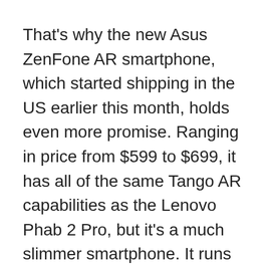That's why the new Asus ZenFone AR smartphone, which started shipping in the US earlier this month, holds even more promise. Ranging in price from $599 to $699, it has all of the same Tango AR capabilities as the Lenovo Phab 2 Pro, but it's a much slimmer smartphone. It runs on a snappier Snapdragon processor. It also supports Google's Daydream software, which is supposed to offer an optimized VR experience. Snap the ZenFone AR into a sweatshirt-soft Daydream headset, and you're in VR.
The result is a good Android phone that you'll be happy with — most of the time. It has all of the aforementioned features, plus a pretty, 5.7-inch